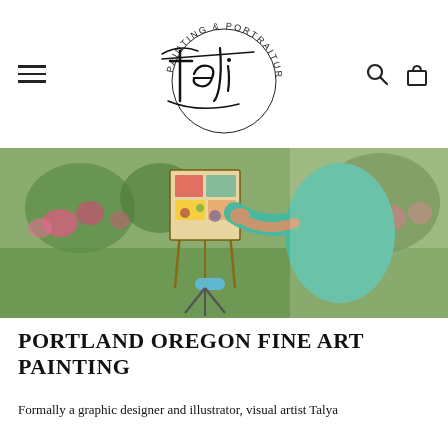Tali Painting & Portraiture — Navigation header with hamburger menu, logo, search and cart icons
[Figure (photo): A woman in a teal/green top painting on an easel outdoors in a garden with pink roses and green grass]
PORTLAND OREGON FINE ART PAINTING
Formally a graphic designer and illustrator, visual artist Talya